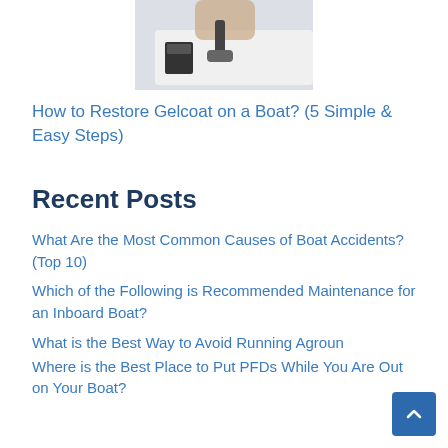[Figure (photo): Person applying gelcoat or paint to a boat surface using a tool, partial view from above]
How to Restore Gelcoat on a Boat? (5 Simple & Easy Steps)
Recent Posts
What Are the Most Common Causes of Boat Accidents? (Top 10)
Which of the Following is Recommended Maintenance for an Inboard Boat?
What is the Best Way to Avoid Running Aground
Where is the Best Place to Put PFDs While You Are Out on Your Boat?